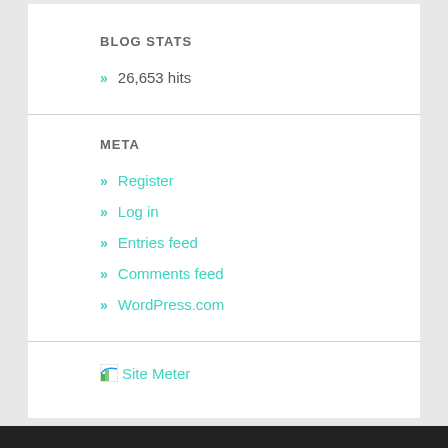BLOG STATS
» 26,653 hits
META
» Register
» Log in
» Entries feed
» Comments feed
» WordPress.com
[Figure (logo): Site Meter logo image with link text 'Site Meter']